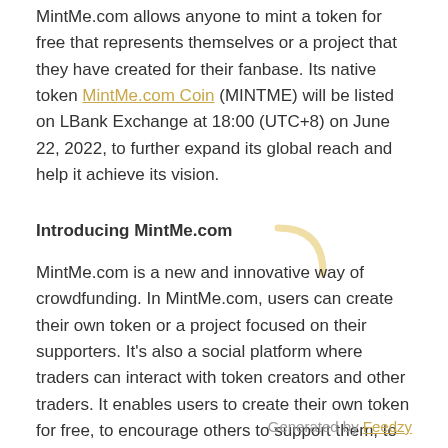MintMe.com allows anyone to mint a token for free that represents themselves or a project that they have created for their fanbase. Its native token MintMe.com Coin (MINTME) will be listed on LBank Exchange at 18:00 (UTC+8) on June 22, 2022, to further expand its global reach and help it achieve its vision.
Introducing MintMe.com
MintMe.com is a new and innovative way of crowdfunding. In MintMe.com, users can create their own token or a project focused on their supporters. It's also a social platform where traders can interact with token creators and other traders. It enables users to create their own token for free, to encourage others to support them, to earn and help by supporting their favorite creators, to socialize with other creators and traders, and to earn through its referral program.
Generated by Feedzy